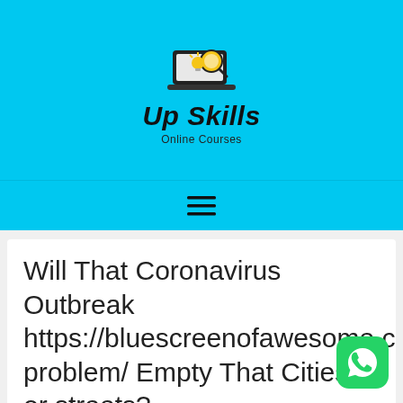[Figure (logo): Up Skills Online Courses logo with laptop and magnifying glass icon on cyan background]
Up Skills
Online Courses
[Figure (other): Hamburger menu icon (three horizontal lines)]
Will That Coronavirus Outbreak https://bluescreenofawesome.com/gambling-problem/ Empty That Cities or streets?